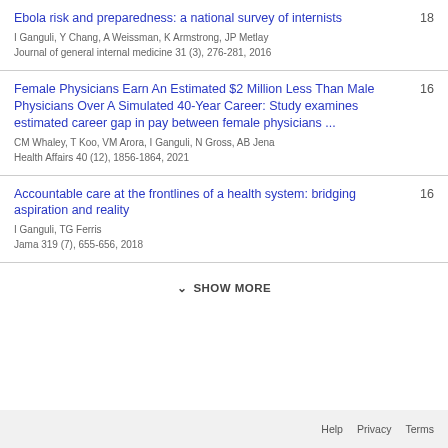Ebola risk and preparedness: a national survey of internists
I Ganguli, Y Chang, A Weissman, K Armstrong, JP Metlay
Journal of general internal medicine 31 (3), 276-281, 2016
18
Female Physicians Earn An Estimated $2 Million Less Than Male Physicians Over A Simulated 40-Year Career: Study examines estimated career gap in pay between female physicians ...
CM Whaley, T Koo, VM Arora, I Ganguli, N Gross, AB Jena
Health Affairs 40 (12), 1856-1864, 2021
16
Accountable care at the frontlines of a health system: bridging aspiration and reality
I Ganguli, TG Ferris
Jama 319 (7), 655-656, 2018
16
SHOW MORE
Help   Privacy   Terms